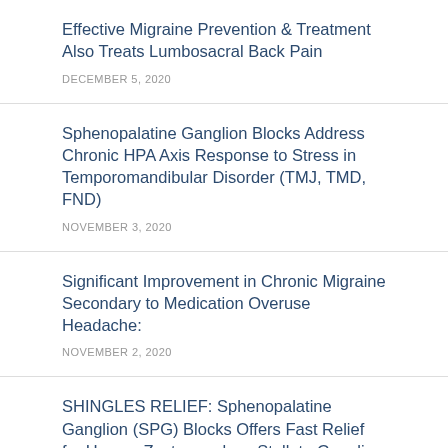Effective Migraine Prevention & Treatment Also Treats Lumbosacral Back Pain
DECEMBER 5, 2020
Sphenopalatine Ganglion Blocks Address Chronic HPA Axis Response to Stress in Temporomandibular Disorder (TMJ, TMD, FND)
NOVEMBER 3, 2020
Significant Improvement in Chronic Migraine Secondary to Medication Overuse Headache:
NOVEMBER 2, 2020
SHINGLES RELIEF: Sphenopalatine Ganglion (SPG) Blocks Offers Fast Relief for Herpes Zoster as does Stellate Ganglion Blocks. Includes Literature Review & Citations